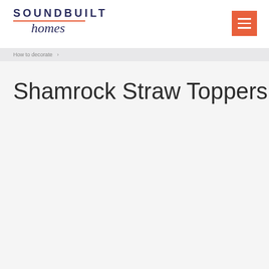Soundbuilt homes
Shamrock Straw Toppers